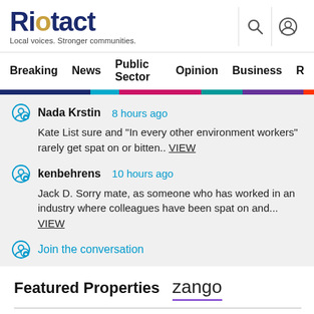Riotact — Local voices. Stronger communities.
Breaking  News  Public Sector  Opinion  Business  R…
Nada Krstin   8 hours ago
Kate List sure and "In every other environment workers" rarely get spat on or bitten.. VIEW
kenbehrens   10 hours ago
Jack D. Sorry mate, as someone who has worked in an industry where colleagues have been spat on and... VIEW
Join the conversation
Featured Properties   zango